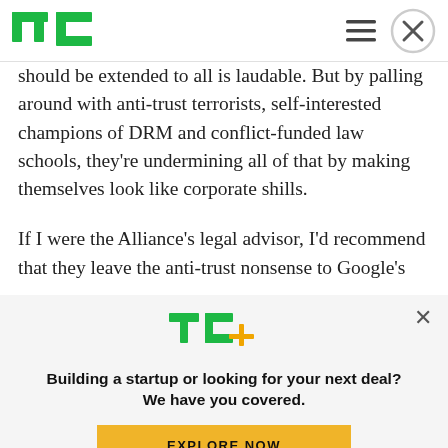TechCrunch logo and navigation
should be extended to all is laudable. But by palling around with anti-trust terrorists, self-interested champions of DRM and conflict-funded law schools, they're undermining all of that by making themselves look like corporate shills.
If I were the Alliance's legal advisor, I'd recommend that they leave the anti-trust nonsense to Google's
[Figure (logo): TechCrunch TC+ logo in green with orange plus sign]
Building a startup or looking for your next deal? We have you covered.
EXPLORE NOW